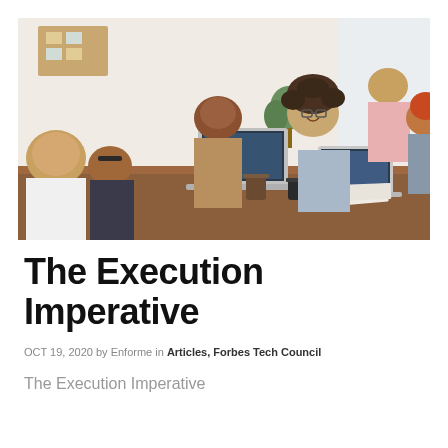[Figure (photo): A group of diverse professionals gathered around a table in an office setting, collaborating with laptops open. Several people are visible including a man in a tan blazer presenting, a woman with curly hair and glasses smiling, and others engaged in discussion. Coffee cups and papers are on the table.]
The Execution Imperative
OCT 19, 2020 by Enforme in Articles, Forbes Tech Council
The Execution Imperative